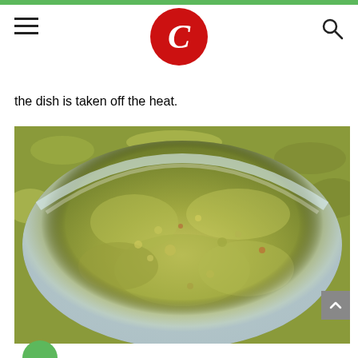C (logo)
the dish is taken off the heat.
[Figure (photo): Close-up photo of dried oregano herb flakes in a glass jar bowl, green and tan colored crushed leaves filling the bowl]
[Figure (other): Partially visible green circle at bottom left corner]